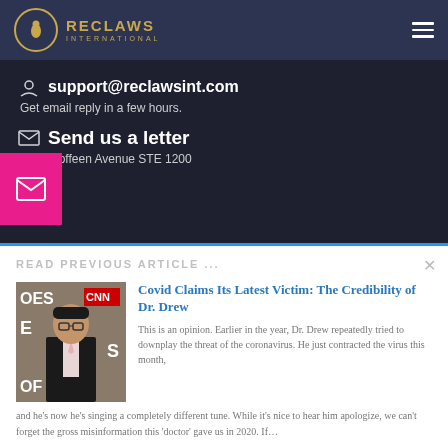RECLAWS INTERNATIONAL
support@reclawsint.com
Get email reply in a few hours.
Send us a letter
1309 Coffeen Avenue STE 1200
READ PREVIOUS ARTICLE ...
Covid Claims Its Latest Victim: The Credibility of Dr. Drew
This is an opinion. Earlier in the year, Dr. Drew repeatedly tried to downplay the threat of the coronavirus. He just contracted the virus this month, and he's now he's singing a completely different tune. While it's nice to hear him apologize, we can't forget the gross misinformation this 'doctor' gave us in 2020. If…